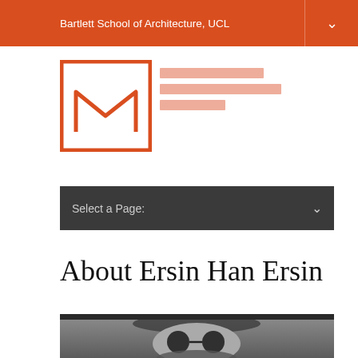Bartlett School of Architecture, UCL
[Figure (logo): Bartlett School of Architecture UCL logo — orange square bracket arch mark with horizontal text lines]
Select a Page:
About Ersin Han Ersin
[Figure (photo): Black and white portrait photo of a bearded man wearing round sunglasses and a fur-collared coat]